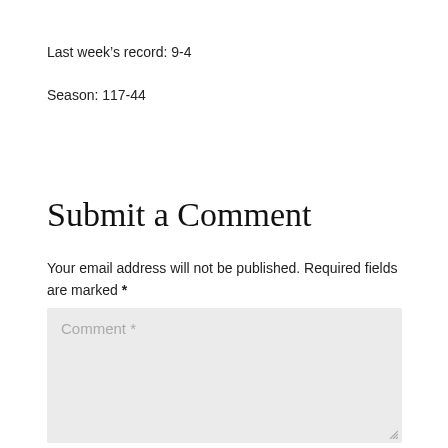Last week's record: 9-4
Season: 117-44
Submit a Comment
Your email address will not be published. Required fields are marked *
[Figure (other): Comment text area input box with placeholder text 'Comment *' and resize handle]